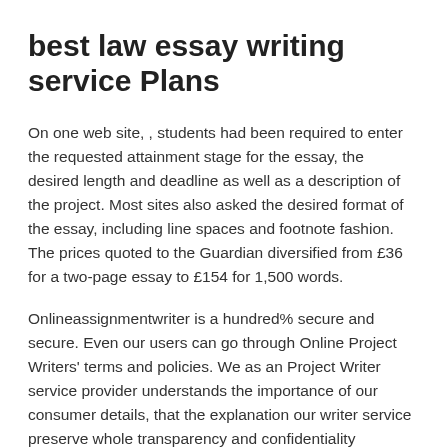best law essay writing service Plans
On one web site, , students had been required to enter the requested attainment stage for the essay, the desired length and deadline as well as a description of the project. Most sites also asked the desired format of the essay, including line spaces and footnote fashion. The prices quoted to the Guardian diversified from £36 for a two-page essay to £154 for 1,500 words.
Onlineassignmentwriter is a hundred% secure and secure. Even our users can go through Online Project Writers' terms and policies. We as an Project Writer service provider understands the importance of our consumer details, that the explanation our writer service preserve whole transparency and confidentiality